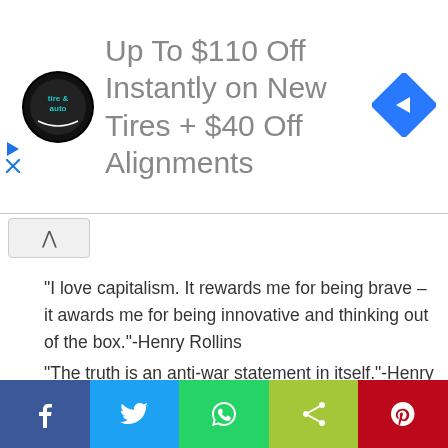[Figure (advertisement): Ad banner: Sears Tire & Auto circular logo, text 'Up To $110 Off Instantly on New Tires + $40 Off Alignments', blue diamond navigation arrow icon on right, with small play/close controls on left edge.]
“I love capitalism. It rewards me for being brave – it awards me for being innovative and thinking out of the box.”-Henry Rollins
“The truth is an anti-war statement in itself.”-Henry Rollins
“We are misery-making machines! Homo sapiens has perfected the art of causing suffering. Pain is humankind’s collective ...
[Figure (infographic): Social share bar with 5 buttons: Facebook (blue), Twitter (light blue), WhatsApp (green), Share (yellow-green), Pinterest (red), each with respective icon.]